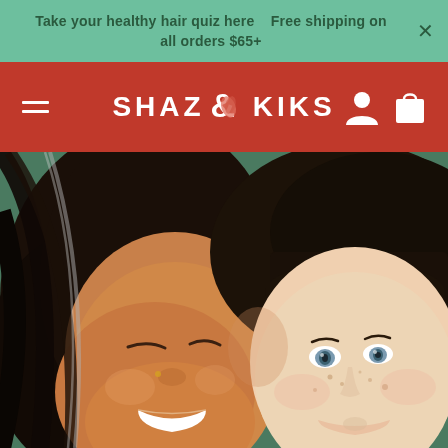Take your healthy hair quiz here   Free shipping on all orders $65+
SHAZ & KIKS
[Figure (photo): Two smiling women with long dark hair cheek-to-cheek; the woman on the left has tan skin and dark wavy hair, the woman on the right has lighter skin with straight dark bangs]